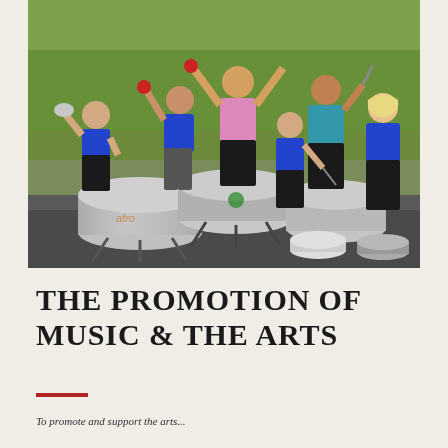[Figure (photo): Group photo of children and adults outdoors with large samba/steel drums. Children wear blue school uniforms. One adult in pink shirt has arms raised. Background shows green hedges. The group poses with drumsticks and mallets around several large metallic drums on a paved surface.]
THE PROMOTION OF MUSIC & THE ARTS
To promote and support the arts...